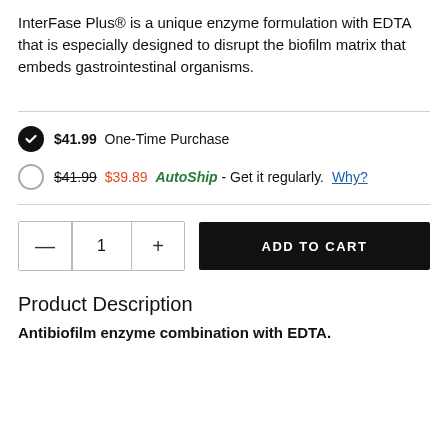InterFase Plus® is a unique enzyme formulation with EDTA that is especially designed to disrupt the biofilm matrix that embeds gastrointestinal organisms.
$41.99  One-Time Purchase
$41.99 $39.89 AutoShip - Get it regularly. Why?
ADD TO CART
Product Description
Antibiofilm enzyme combination with EDTA.